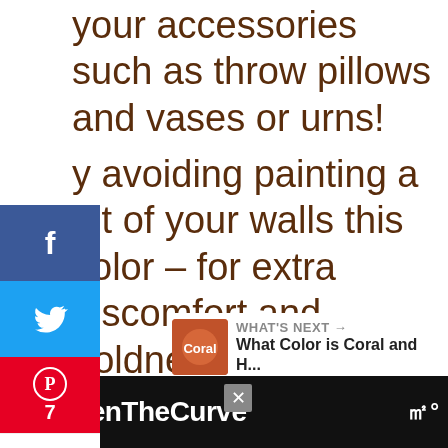your accessories such as throw pillows and vases or urns!
by avoiding painting a lot of your walls this color – for extra discomfort and boldness in your space.
[Figure (infographic): Social media sharing sidebar: Facebook (blue), Twitter (cyan), Pinterest (red, count 7), Love/heart (white, count 3), Email (green)]
7 SHARES
[Figure (infographic): Right side action buttons: heart icon with count 10, share icon]
WHAT'S NEXT → What Color is Coral and H...
[Figure (infographic): Bottom ad banner: #FlattenTheCurve with hand washing image and close button]